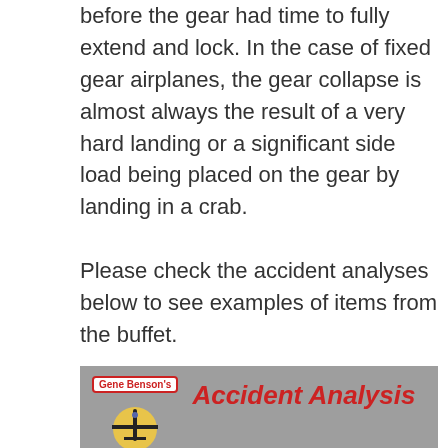before the gear had time to fully extend and lock. In the case of fixed gear airplanes, the gear collapse is almost always the result of a very hard landing or a significant side load being placed on the gear by landing in a crab.
Please check the accident analyses below to see examples of items from the buffet.
If you are reading this, you are most likely not part of the problem but you can be part of the solution. Please consider encouraging other pilots to enroll in the FAA Wings program, attend live seminars or webinars, take online courses, and of course, join the Vectors for Safety email list.
[Figure (illustration): Gray banner with Gene Benson's label in red border, airplane silhouette icon, and red italic 'Accident Analysis' text]